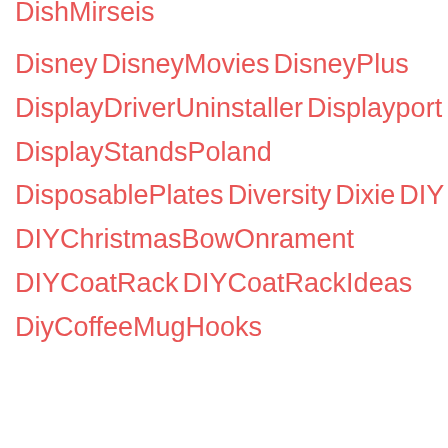DishMirseis
Disney
DisneyMovies
DisneyPlus
DisplayDriverUninstaller
Displayport
DisplayStandsPoland
DisposablePlates
Diversity
Dixie
DIY
DIYChristmasBowOnrament
DIYCoatRack
DIYCoatRackIdeas
DiyCoffeeMugHooks